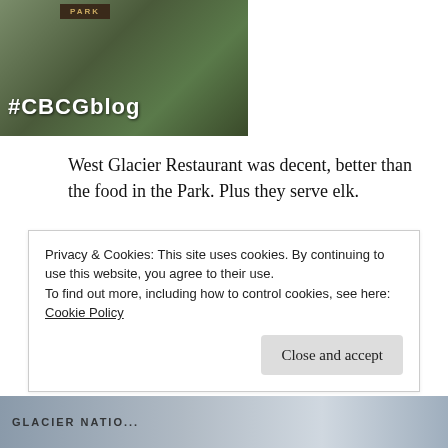[Figure (photo): Photo of a park entrance sign area with trees and greenery, overlaid with white text '#CBCGblog']
West Glacier Restaurant was decent, better than the food in the Park. Plus they serve elk.
Jammer Tour or Going to the Sun Road Shuttle? The jammer red bus tour is a bit pricey but you get to stop at each site along the way and take photos and hear about what you're seeing. If you do that your first day you can make note of the trails and scenic views you want to go back and see on the shuttle
Privacy & Cookies: This site uses cookies. By continuing to use this website, you agree to their use.
To find out more, including how to control cookies, see here: Cookie Policy
[Figure (photo): Partial photo at bottom showing Glacier National Park sign and decorative swirl design]